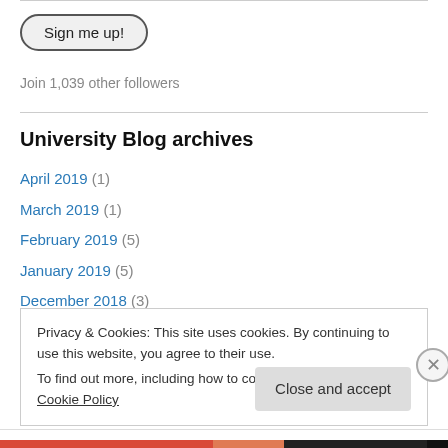Sign me up!
Join 1,039 other followers
University Blog archives
April 2019 (1)
March 2019 (1)
February 2019 (5)
January 2019 (5)
December 2018 (3)
Privacy & Cookies: This site uses cookies. By continuing to use this website, you agree to their use. To find out more, including how to control cookies, see here: Cookie Policy
Close and accept